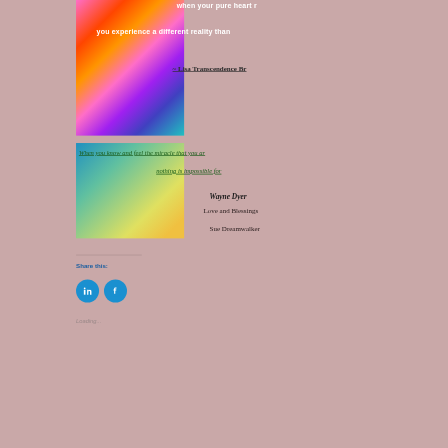[Figure (illustration): Colorful gradient image with pink, orange, purple and teal tones containing white bold text quotes and attribution]
when your pure heart r
you experience a different reality than
~ Lisa Transcendence Br
[Figure (illustration): Colorful gradient image with blue, teal, green and yellow tones containing dark green italic underlined text quote]
When you know and feel the miracle that you ar
nothing is impossible for
Wayne Dyer
Love and Blessings
Sue Dreamwalker
Share this:
[Figure (logo): LinkedIn circular blue icon]
[Figure (logo): Facebook circular blue icon]
Loading...